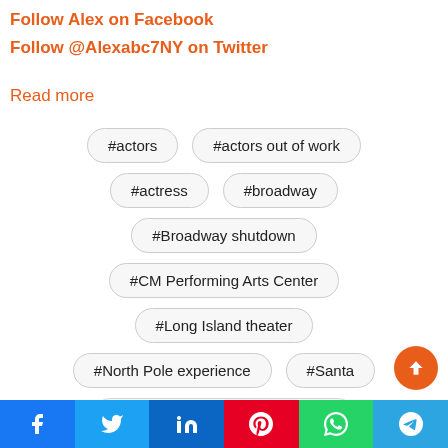Follow Alex on Facebook
Follow @Alexabc7NY on Twitter
Read more
#actors
#actors out of work
#actress
#broadway
#Broadway shutdown
#CM Performing Arts Center
#Long Island theater
#North Pole experience
#Santa
Facebook | Twitter | LinkedIn | Pinterest | WhatsApp | Telegram